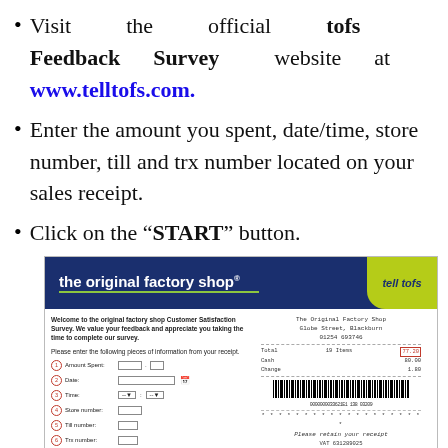Visit the official tofs Feedback Survey website at www.telltofs.com.
Enter the amount you spent, date/time, store number, till and trx number located on your sales receipt.
Click on the "START" button.
[Figure (screenshot): Screenshot of the Tell TOFS survey website showing the original factory shop header with tell tofs badge, and the survey form with fields for Amount Spent, Date, Time, Store number, Till number, Trx number, alongside a sample receipt showing The Original Factory Shop, Globe Street, Blackburn details with Total, Cash, Change and barcode.]